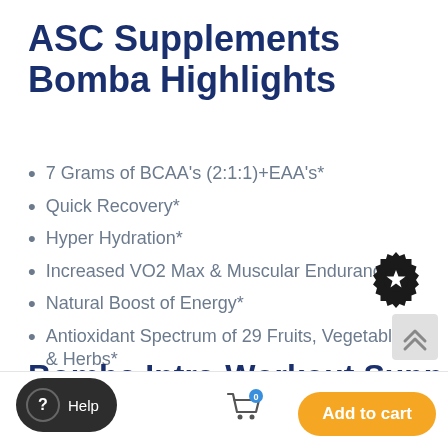ASC Supplements Bomba Highlights
7 Grams of BCAA's (2:1:1)+EAA's*
Quick Recovery*
Hyper Hydration*
Increased VO2 Max & Muscular Endurance*
Natural Boost of Energy*
Antioxidant Spectrum of 29 Fruits, Vegetables, & Herbs*
3 Patented Ingredients*
Delicious Flavors-Drink Anytime!*
Bomba Intra-Workout Supp Facts
[Figure (illustration): Badge/seal icon with star in center]
[Figure (illustration): Scroll up button with double chevron arrows]
[Figure (illustration): Help button (dark pill shape with question mark and Help text), shopping cart icon with 0 badge, and orange Add to cart button]